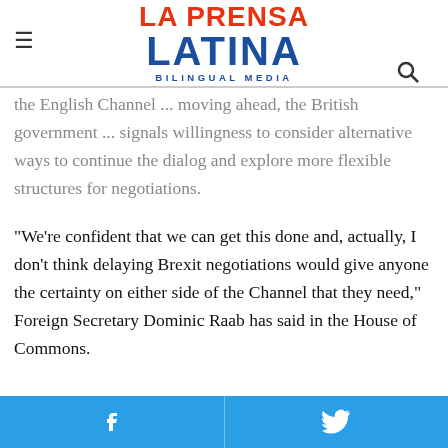La Prensa Latina Bilingual Media
the English Channel ... moving ahead, the British government ... signals willingness to consider alternative ways to continue the dialog and explore more flexible structures for negotiations.
“We’re confident that we can get this done and, actually, I don’t think delaying Brexit negotiations would give anyone the certainty on either side of the Channel that they need,” Foreign Secretary Dominic Raab has said in the House of Commons.
In the corridors of the Palace of Westminster, seat of the Parliament, officials have been considering the possibility of making the negotiation a continuous dialog through telematic methods, instead of depending on periodic meetings.
Facebook share | Twitter share